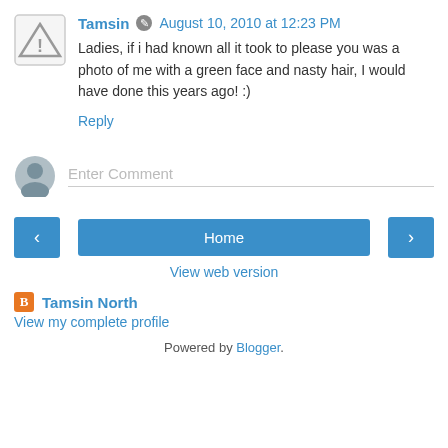Tamsin  August 10, 2010 at 12:23 PM
Ladies, if i had known all it took to please you was a photo of me with a green face and nasty hair, I would have done this years ago! :)
Reply
Enter Comment
Home
View web version
Tamsin North
View my complete profile
Powered by Blogger.